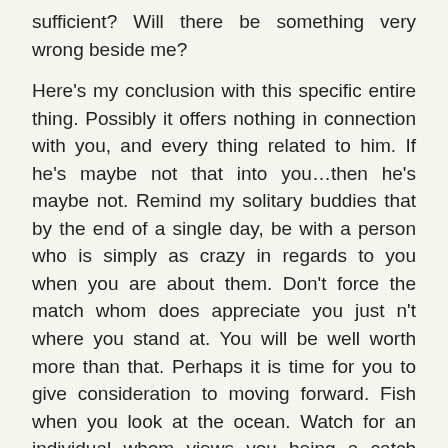sufficient? Will there be something very wrong beside me?
Here's my conclusion with this specific entire thing. Possibly it offers nothing in connection with you, and every thing related to him. If he's maybe not that into you…then he's maybe not. Remind my solitary buddies that by the end of a single day, be with a person who is simply as crazy in regards to you when you are about them. Don't force the match whom does appreciate you just n't where you stand at. You will be well worth more than that. Perhaps it is time for you to give consideration to moving forward. Fish when you look at the ocean. Watch for an individual whom views you being a catch worth finding.
3. He's afraid:
Truth be told girls, several of those eligible bachelors are simply as insecure and uncertain when you are. Scared of rejection, of heart break, and of failure- it will require a complete large amount of courage and self-confidence to